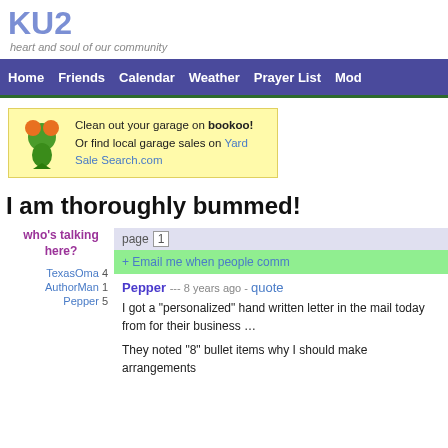KU2
heart and soul of our community
Home  Friends  Calendar  Weather  Prayer List  Mod
[Figure (infographic): Yellow ad banner with green mascot icon: Clean out your garage on bookoo! Or find local garage sales on Yard Sale Search.com]
I am thoroughly bummed!
who's talking here?
TexasOma 4
AuthorMan 1
Pepper 5
page 1
+ Email me when people comm
Pepper --- 8 years ago - quote
I got a "personalized" hand written letter in the mail today from for their business …
They noted "8" bullet items why I should make arrangements